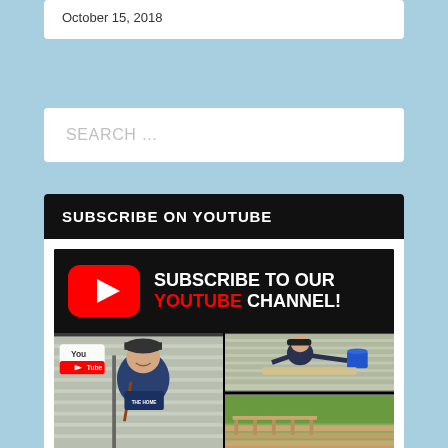October 15, 2018
SEARCH …
SUBSCRIBE ON YOUTUBE
[Figure (illustration): YouTube subscribe banner with red YouTube play button logo and text 'SUBSCRIBE TO OUR YOUTUBE CHANNEL!' followed by a photo collage showing a person with tools smiling at camera with YouTube logo badge, a person working on a wall with a blue bucket, and an outdoor deck scene.]